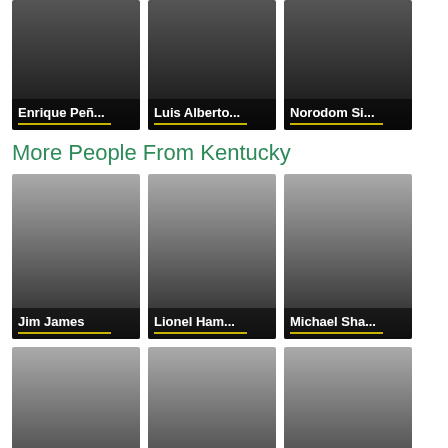[Figure (photo): Card with gradient background and label 'Enrique Peñ...']
[Figure (photo): Card with gradient background and label 'Luis Alberto...']
[Figure (photo): Card with gradient background and label 'Norodom Si...']
More People From Kentucky
[Figure (photo): Card with gradient background and label 'Jim James']
[Figure (photo): Card with gradient background and label 'Lionel Ham...']
[Figure (photo): Card with gradient background and label 'Michael Sha...']
[Figure (photo): Card with gradient background and label 'Johnny Depp']
[Figure (photo): Card with gradient background and label 'John Pope']
[Figure (photo): Card with gradient background and label 'Bell Hooks']
More People From United States of